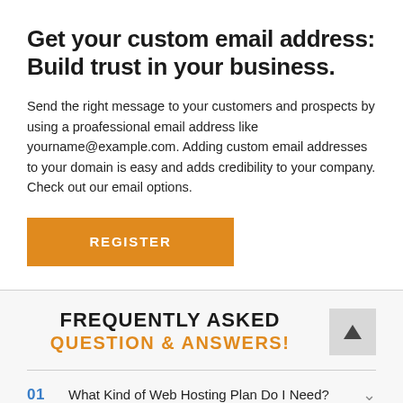Get your custom email address: Build trust in your business.
Send the right message to your customers and prospects by using a proafessional email address like yourname@example.com. Adding custom email addresses to your domain is easy and adds credibility to your company. Check out our email options.
REGISTER
FREQUENTLY ASKED QUESTION & ANSWERS!
01  What Kind of Web Hosting Plan Do I Need?